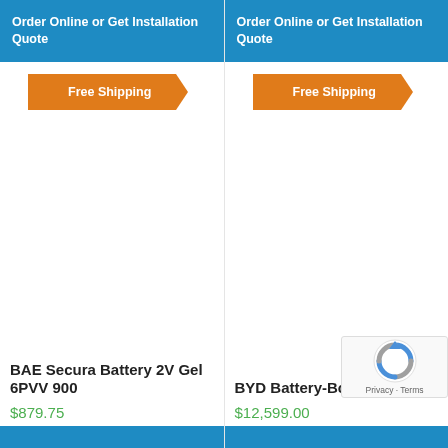Order Online or Get Installation Quote
[Figure (infographic): Free Shipping orange arrow badge]
[Figure (photo): BAE Secura Battery 2V Gel 6PVV 900 product image area (blank/white)]
BAE Secura Battery 2V Gel 6PVV 900
$879.75
In Stock
Order Online or Get Installation Quote
[Figure (infographic): Free Shipping orange arrow badge]
[Figure (photo): BYD Battery-Box L14.0 product image area (blank/white)]
BYD Battery-Box L14.0
$12,599.00
In Stock
[Figure (logo): reCAPTCHA logo with Privacy and Terms text]